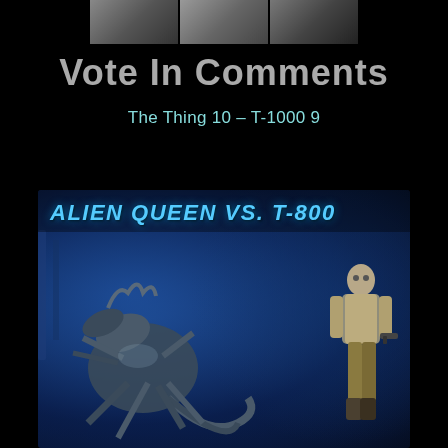[Figure (photo): Top strip showing two or three faces/characters in dark tones, partially cropped at top of page]
Vote In Comments
The Thing 10 – T-1000 9
[Figure (photo): Composite battle image showing Alien Queen (large xenomorph) facing T-800 (Terminator character with gun) against a dark blue industrial background, with text overlay 'ALIEN QUEEN VS. T-800']